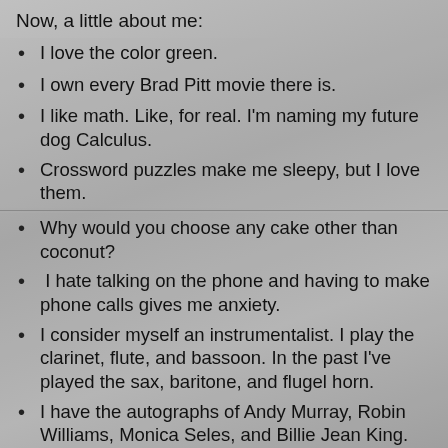Now, a little about me:
I love the color green.
I own every Brad Pitt movie there is.
I like math. Like, for real. I'm naming my future dog Calculus.
Crossword puzzles make me sleepy, but I love them.
Why would you choose any cake other than coconut?
I hate talking on the phone and having to make phone calls gives me anxiety.
I consider myself an instrumentalist. I play the clarinet, flute, and bassoon. In the past I've played the sax, baritone, and flugel horn.
I have the autographs of Andy Murray, Robin Williams, Monica Seles, and Billie Jean King.
I don't believe in guilty pleasures. If you like it, it's good.
I'm a huge Alfred Hitchcock fan. Rear Window is